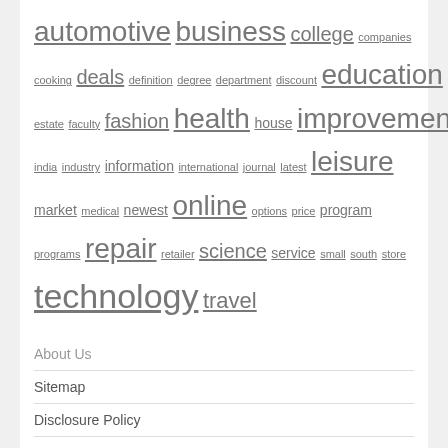automotive business college companies cooking deals definition degree department discount education estate faculty fashion health house improvement india industry information international journal latest leisure market medical newest online options price program programs repair retailer science service small south store technology travel
About Us
Sitemap
Disclosure Policy